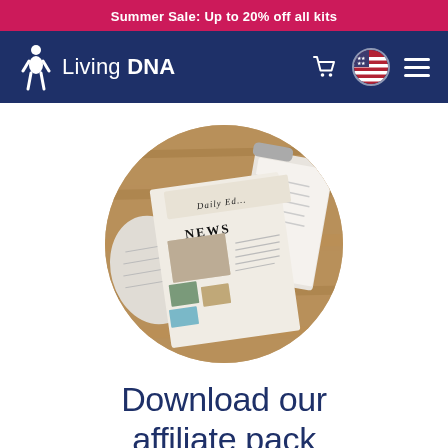Summer Sale: Up to 20% off all kits
[Figure (logo): Living DNA logo with navigation bar on dark blue background, showing cart icon, US flag circle, and hamburger menu]
[Figure (photo): Circular cropped photo of newspapers and documents on a wooden surface, showing a newspaper with NEWS headline]
Download our affiliate pack